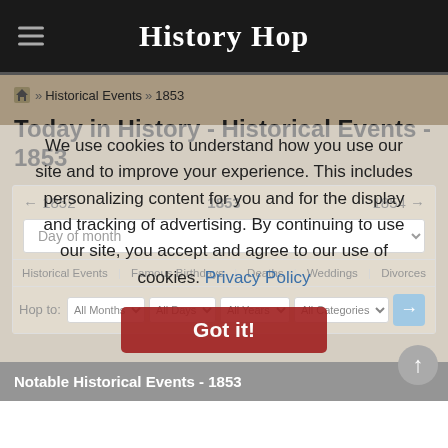History Hop
🏠 » Historical Events » 1853
Today in History - Historical Events - 1853
[Figure (screenshot): Navigation box with year navigation (← 1852, 1853, 1854 →), Day of month dropdown, tab links (Historical Events | Famous Birthdays | Deaths | Weddings | Divorces), and Hop to row with All Months, All Days, All Years, All Categories dropdowns and arrow button]
We use cookies to understand how you use our site and to improve your experience. This includes personalizing content for you and for the display and tracking of advertising. By continuing to use our site, you accept and agree to our use of cookies. Privacy Policy
Got it!
Notable Historical Events - 1853